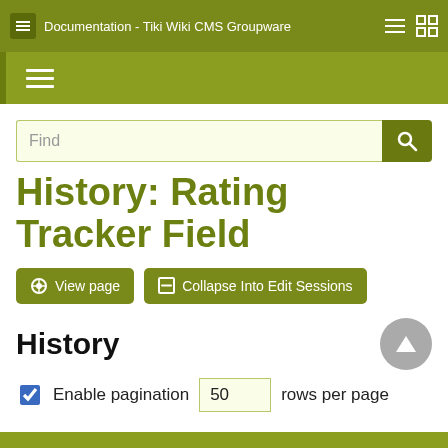Documentation - Tiki Wiki CMS Groupware
[Figure (screenshot): Navigation menu bar with hamburger icon]
[Figure (screenshot): Search input field with Find placeholder and search button]
History: Rating Tracker Field
View page
Collapse Into Edit Sessions
History
Enable pagination 50 rows per page